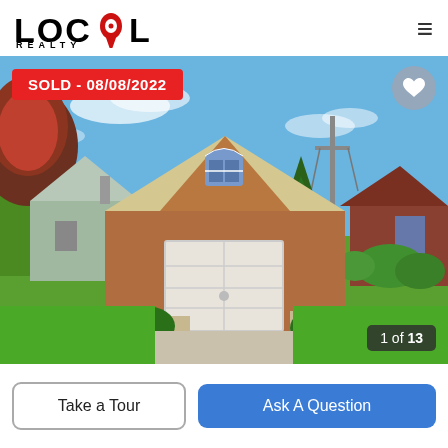LOCAL REALTY
[Figure (photo): Exterior photo of a brick single-family home with two-car garage, concrete driveway, green lawn, and blue sky. Sold badge overlay reads SOLD - 08/08/2022. Image counter shows 1 of 13.]
Take a Tour
Ask A Question